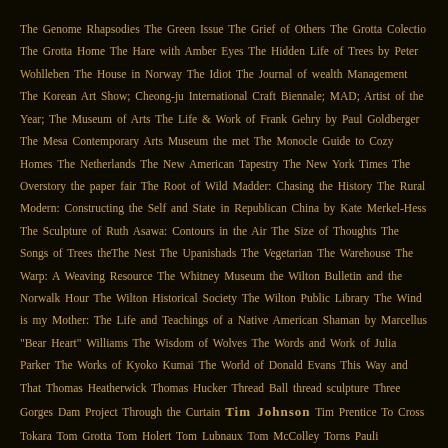The Genome Rhapsodies The Green Issue The Grief of Others The Grotta Colectio The Grotta Home The Hare with Amber Eyes The Hidden Life of Trees by Peter Wohlleben The House in Norway The Idiot The Journal of wealth Management The Korean Art Show; Cheong-ju International Craft Biennale; MAD; Artist of the Year; The Museum of Arts The Life & Work of Frank Gehry by Paul Goldberger The Mesa Contemporary Arts Museum the met The Monocle Guide to Cozy Homes The Netherlands The New American Tapestry The New York Times The Overstory the paper fair The Root of Wild Madder: Chasing the History The Rural Modern: Constructing the Self and State in Republican China by Kate Merkel-Hess The Sculpture of Ruth Asawa: Contours in the Air The Size of Thoughts The Songs of Trees theThe Nest The Upanishads The Vegetarian The Warehouse The Warp: A Weaving Resource The Whitney Museum the Wilton Bulletin and the Norwalk Hour The Wilton Historical Society The Wilton Public Library The Wind is my Mother: The Life and Teachings of a Native American Shaman by Marcellus "Bear Heart" Williams The Wisdom of Wolves The Words and Work of Julia Parker The Works of Kyoko Kumai The World of Donald Evans This Way and That Thomas Heatherwick Thomas Hucker Thread Ball thread sculpture Three Gorges Dam Project Through the Curtain Tim Johnson Tim Prentice To Cross Tokara Tom Grotta Tom Holert Tom Lubnaux Tom McColley Torns Pauli Foundation Too To Plait Toshiko Takaezu Toshio Seikiji Toshio Sekiji Travel Travel Tree Art Triennial of Tapestry Trude